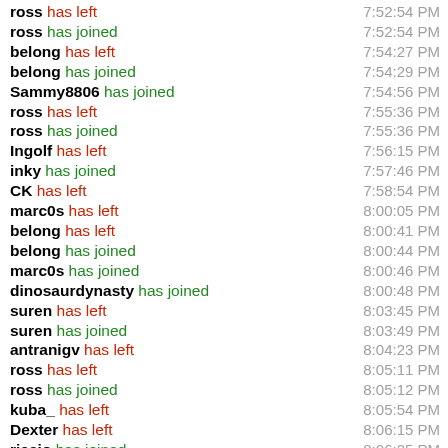ross has left 7:52:54 PM
ross has joined 7:52:54 PM
belong has left 7:54:27 PM
belong has joined 7:54:29 PM
Sammy8806 has joined 7:54:56 PM
ross has left 7:55:36 PM
ross has joined 7:55:36 PM
Ingolf has left 7:56:15 PM
inky has joined 7:57:46 PM
CK has left 7:58:54 PM
marc0s has left 8:00:05 PM
belong has left 8:00:41 PM
belong has joined 8:00:44 PM
marc0s has joined 8:00:46 PM
dinosaurdynasty has joined 8:00:48 PM
suren has left 8:03:45 PM
suren has joined 8:03:49 PM
antranigv has left 8:04:23 PM
ross has left 8:05:11 PM
ross has joined 8:05:12 PM
kuba_ has left 8:05:54 PM
Dexter has left 8:06:15 PM
riccio has joined 8:06:25 PM
kikuchiyo has left 8:07:26 PM
kuba_ has joined 8:07:49 PM